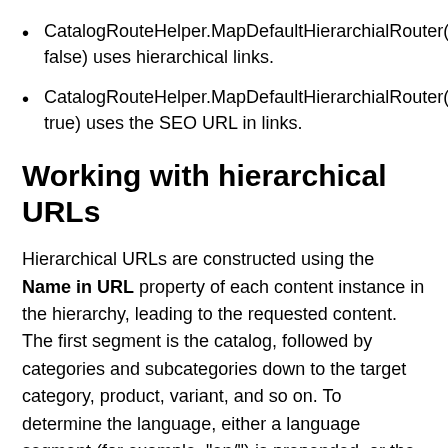CatalogRouteHelper.MapDefaultHierarchialRouter(routes, false) uses hierarchical links.
CatalogRouteHelper.MapDefaultHierarchialRouter(routes, true) uses the SEO URL in links.
Working with hierarchical URLs
Hierarchical URLs are constructed using the Name in URL property of each content instance in the hierarchy, leading to the requested content. The first segment is the catalog, followed by categories and subcategories down to the target category, product, variant, and so on. To determine the language, either a language segment (for example, "en/") is prepended, or the configured site host mapping is used; see Globalization scenarios.
The Name in URL property value is automatically generated from the Name when new content is created. Because only certain characters are valid in a URL and